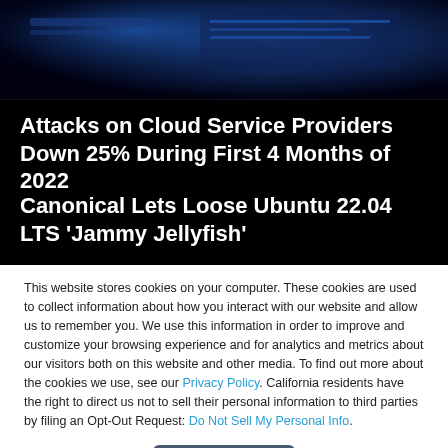[Figure (photo): Dark hero image with blue-lit technology/server equipment in the background]
Attacks on Cloud Service Providers Down 25% During First 4 Months of 2022
Canonical Lets Loose Ubuntu 22.04 LTS ‘Jammy Jellyfish’
This website stores cookies on your computer. These cookies are used to collect information about how you interact with our website and allow us to remember you. We use this information in order to improve and customize your browsing experience and for analytics and metrics about our visitors both on this website and other media. To find out more about the cookies we use, see our Privacy Policy. California residents have the right to direct us not to sell their personal information to third parties by filing an Opt-Out Request: Do Not Sell My Personal Info.
Accept